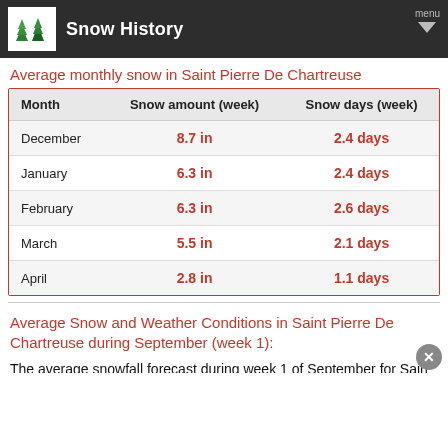Snow History
Average monthly snow in Saint Pierre De Chartreuse
| Month | Snow amount (week) | Snow days (week) |
| --- | --- | --- |
| December | 8.7 in | 2.4 days |
| January | 6.3 in | 2.4 days |
| February | 6.3 in | 2.6 days |
| March | 5.5 in | 2.1 days |
| April | 2.8 in | 1.1 days |
Average Snow and Weather Conditions in Saint Pierre De Chartreuse during September (week 1):
The average snowfall forecast during week 1 of September for Sain…